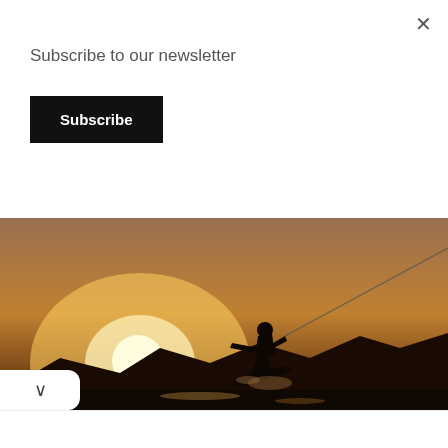×
Subscribe to our newsletter
Subscribe
[Figure (photo): Silhouette of a wakeboarding person jumping against a golden sunset sky, with a tow rope line visible, mountains in the background and water spray below.]
▾
2022's Top Rated RV Warranty
Our coverage can be used with any licensed repair facility or mobile mechanic in the US. America's RV Warranty
Open